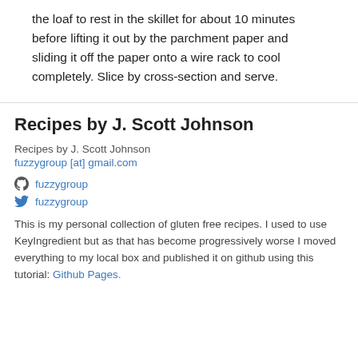the loaf to rest in the skillet for about 10 minutes before lifting it out by the parchment paper and sliding it off the paper onto a wire rack to cool completely. Slice by cross-section and serve.
Recipes by J. Scott Johnson
Recipes by J. Scott Johnson
fuzzygroup [at] gmail.com
fuzzygroup
fuzzygroup
This is my personal collection of gluten free recipes. I used to use KeyIngredient but as that has become progressively worse I moved everything to my local box and published it on github using this tutorial: Github Pages.